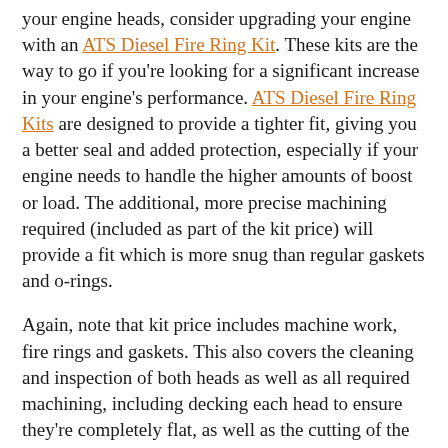your engine heads, consider upgrading your engine with an ATS Diesel Fire Ring Kit. These kits are the way to go if you're looking for a significant increase in your engine's performance. ATS Diesel Fire Ring Kits are designed to provide a tighter fit, giving you a better seal and added protection, especially if your engine needs to handle the higher amounts of boost or load. The additional, more precise machining required (included as part of the kit price) will provide a fit which is more snug than regular gaskets and o-rings.
Again, note that kit price includes machine work, fire rings and gaskets. This also covers the cleaning and inspection of both heads as well as all required machining, including decking each head to ensure they're completely flat, as well as the cutting of the grooves. Each kits also includes a new set of head gaskets that are precision-cut around the exclusive fire rings, which set in the grooves machined into the head and are "crushed" against the block to provide the most reliable seal available! High-torque head studs are required for most effective